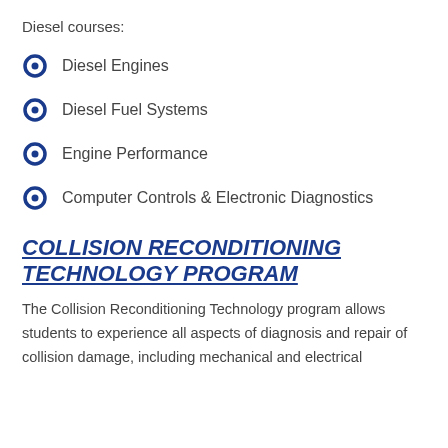Diesel courses:
Diesel Engines
Diesel Fuel Systems
Engine Performance
Computer Controls & Electronic Diagnostics
COLLISION RECONDITIONING TECHNOLOGY PROGRAM
The Collision Reconditioning Technology program allows students to experience all aspects of diagnosis and repair of collision damage, including mechanical and electrical